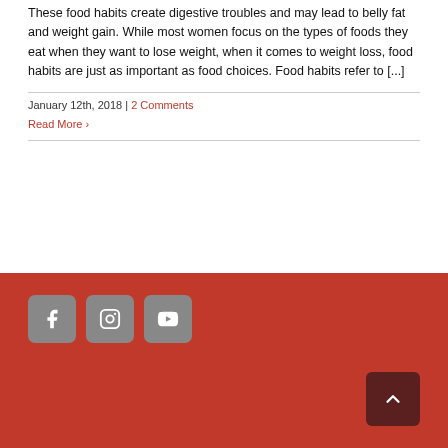These food habits create digestive troubles and may lead to belly fat and weight gain. While most women focus on the types of foods they eat when they want to lose weight, when it comes to weight loss, food habits are just as important as food choices. Food habits refer to [...]
January 12th, 2018 | 2 Comments
Read More ›
[Figure (other): Red footer area with social media icons (Facebook, Instagram, YouTube) as rounded square grey buttons, and a dark red scroll-to-top button with upward chevron arrow in the bottom right.]